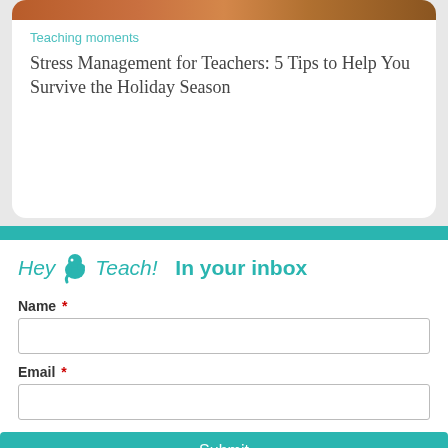Teaching moments
Stress Management for Teachers: 5 Tips to Help You Survive the Holiday Season
[Figure (photo): Partial view of a child's head from above, dark hair, against a muted teal/grey background]
Hey Teach! In your inbox
Name *
Email *
Submit
No thanks. Continue to Hey Teach!